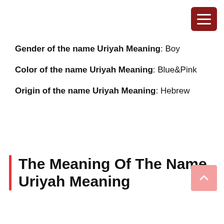Gender of the name Uriyah Meaning: Boy
Color of the name Uriyah Meaning: Blue&Pink
Origin of the name Uriyah Meaning: Hebrew
The Meaning Of The Name Uriyah Meaning
advertisement